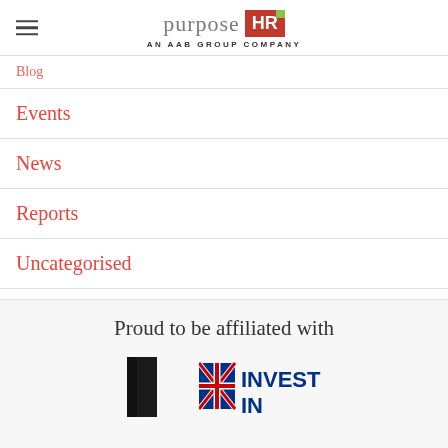purpose HR — AN AAB GROUP COMPANY
Blog
Events
News
Reports
Uncategorised
Proud to be affiliated with
[Figure (logo): Two affiliate logos partially visible at bottom of page]